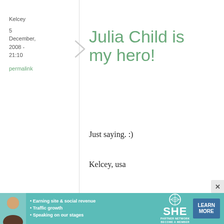Kelcey
5 December, 2008 - 21:10
permalink
Julia Child is my hero!
Just saying. :)
Kelcey, usa
silver.
5 December, 2008 - 21:31
permalink
Mom's Julia Child cookbook
[Figure (infographic): SHE Partner Network advertisement banner with photo of woman, bullet points about earning site & social revenue, traffic growth, speaking on our stages, SHE logo, and Learn More button]